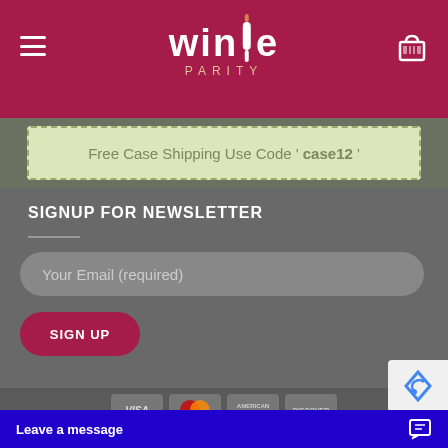Wine Parity
Free Case Shipping Use Code ' case12 '
SIGNUP FOR NEWSLETTER
Your Email (required)
SIGN UP
[Figure (other): Payment method icons: VISA, MasterCard, American Express, Discover]
Copyright 2022 © wineparity...
Leave a message